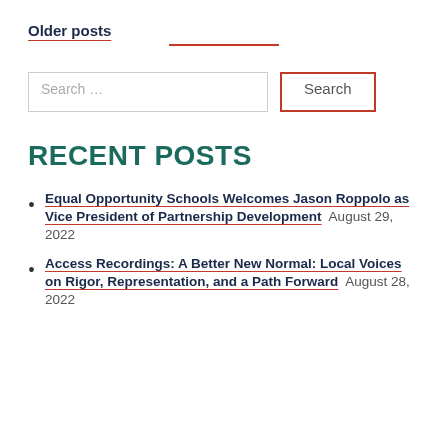Older posts
[Figure (screenshot): Search bar with text input field labeled 'Search ...' and a Search button with orange/red border]
RECENT POSTS
Equal Opportunity Schools Welcomes Jason Roppolo as Vice President of Partnership Development  August 29, 2022
Access Recordings: A Better New Normal: Local Voices on Rigor, Representation, and a Path Forward  August 28, 2022